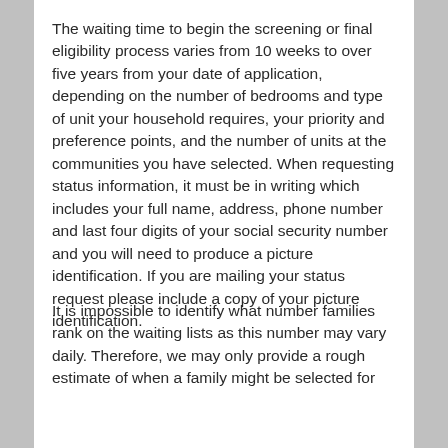The waiting time to begin the screening or final eligibility process varies from 10 weeks to over five years from your date of application, depending on the number of bedrooms and type of unit your household requires, your priority and preference points, and the number of units at the communities you have selected. When requesting status information, it must be in writing which includes your full name, address, phone number and last four digits of your social security number and you will need to produce a picture identification. If you are mailing your status request please include a copy of your picture identification.
It is impossible to identify what number families rank on the waiting lists as this number may vary daily. Therefore, we may only provide a rough estimate of when a family might be selected for